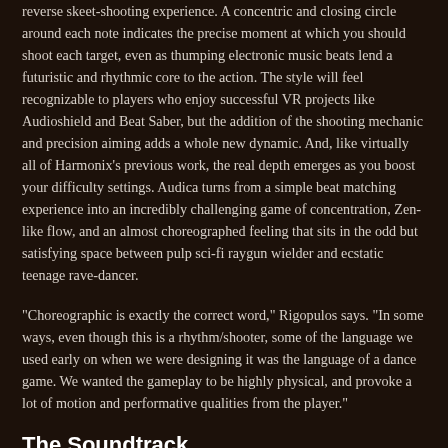reverse skeet-shooting experience. A concentric and closing circle around each note indicates the precise moment at which you should shoot each target, even as thumping electronic music beats lend a futuristic and rhythmic core to the action. The style will feel recognizable to players who enjoy successful VR projects like Audioshield and Beat Saber, but the addition of the shooting mechanic and precision aiming adds a whole new dynamic. And, like virtually all of Harmonix's previous work, the real depth emerges as you boost your difficulty settings. Audica turns from a simple beat matching experience into an incredibly challenging game of concentration, Zen-like flow, and an almost choreographed feeling that sits in the odd but satisfying space between pulp sci-fi raygun wielder and ecstatic teenage rave-dancer.
“Choreographic is exactly the correct word,” Rigopulos says. “In some ways, even though this is a rhythm/shooter, some of the language we used early on when we were designing it was the language of a dance game. We wanted the gameplay to be highly physical, and provoke a lot of motion and performative qualities from the player.”
The Soundtrack